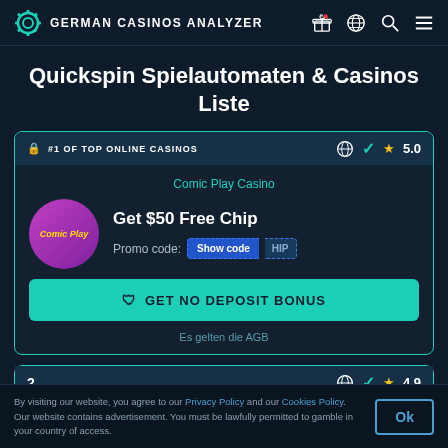GERMAN CASINOS ANALYZER
Quickspin Spielautomaten & Casinos Liste
#1 OF TOP ONLINE CASINOS — Rating: 5.0
Comic Play Casino — Get $50 Free Chip — Promo code: Show code HIP
GET NO DEPOSIT BONUS
Es gelten die AGB
2 — Rating: 4.9
By visiting our website, you agree to our Privacy Policy and our Cookies Policy. Our website contains advertisement. You must be lawfully permitted to gamble in your country of access.